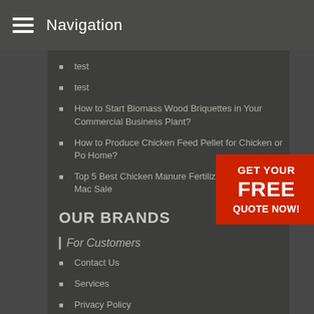Navigation
test
test
How to Start Biomass Wood Briquettes in Your Commercial Business Plant?
How to Produce Chicken Feed Pellet for Chicken or Poultry at Home?
Top 5 Best Chicken Manure Fertilizer Production Machines for Sale
OUR BRANDS
For Customers
Contact Us
Services
Privacy Policy
[Figure (other): Red promotional banner: GET YOUR FREE QUOTE NOW!]